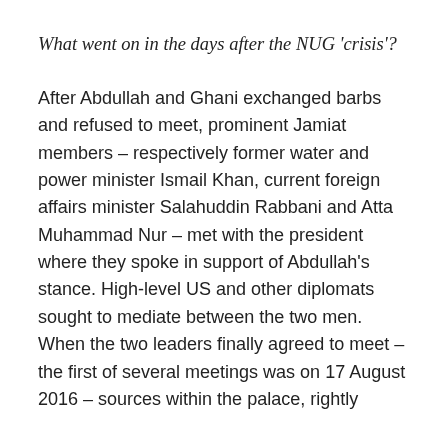What went on in the days after the NUG ‘crisis’?
After Abdullah and Ghani exchanged barbs and refused to meet, prominent Jamiat members – respectively former water and power minister Ismail Khan, current foreign affairs minister Salahuddin Rabbani and Atta Muhammad Nur – met with the president where they spoke in support of Abdullah’s stance. High-level US and other diplomats sought to mediate between the two men. When the two leaders finally agreed to meet – the first of several meetings was on 17 August 2016 – sources within the palace, rightly